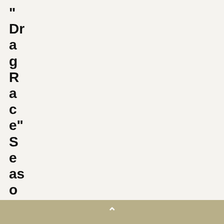“DragRace” Season 11 Episode 6
The e